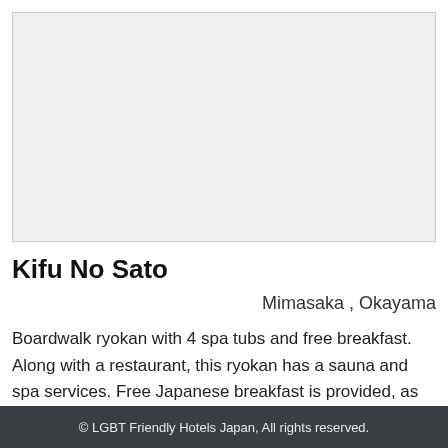[Figure (photo): Large photo placeholder area — light grey background representing a hotel or ryokan image]
Kifu No Sato
Mimasaka , Okayama
Boardwalk ryokan with 4 spa tubs and free breakfast. Along with a restaurant, this ryokan has a sauna and spa services. Free Japanese breakfast is provided, as well as free WiFi in public areas, free self parking, and free train
© LGBT Friendly Hotels Japan, All rights reserved.